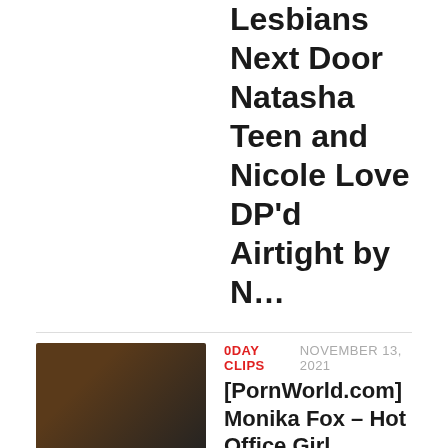Lesbians Next Door Natasha Teen and Nicole Love DP'd Airtight by N…
0DAY CLIPS  NOVEMBER 13, 2021
[PornWorld.com] Monika Fox – Hot Office Girl Monika Fox DP'd with BBC's GP2106 (2021)
0DAY CLIPS  NOVEMBER 9, 2021
[PornWorld.com] Julia De Lucia – Julia de Lucia Gives Her Asshole Up So Her